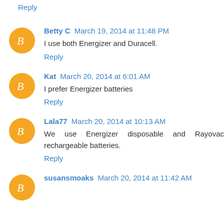Reply
Betty C March 19, 2014 at 11:48 PM
I use both Energizer and Duracell.
Reply
Kat March 20, 2014 at 6:01 AM
I prefer Energizer batteries
Reply
Lala77 March 20, 2014 at 10:13 AM
We use Energizer disposable and Rayovac rechargeable batteries.
Reply
susansmoaks March 20, 2014 at 11:42 AM